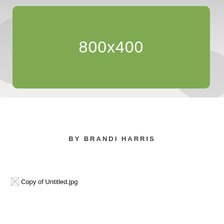[Figure (other): A placeholder image block showing a green rounded rectangle with text '800x400' in white, overlaid on a blurred light gray background photo]
BY BRANDI HARRIS
[Figure (other): A broken image placeholder showing alt text 'Copy of Untitled.jpg']